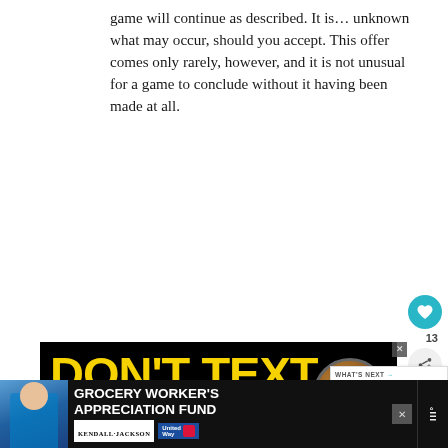game will continue as described. It is... unknown what may occur, should you accept. This offer comes only rarely, however, and it is not unusual for a game to conclude without it having been made at all.
[Figure (screenshot): Advertisement banner showing 'DON'T TEXT AND' text in bold yellow and teal on black background, with a circular image overlay and close button]
[Figure (infographic): WHAT'S NEXT panel showing 'The Most Dangerous...' with thumbnail]
[Figure (infographic): Bottom banner ad for Grocery Worker's Appreciation Fund with Kendall-Jackson and United Way logos, person image on left, CNN icon on right]